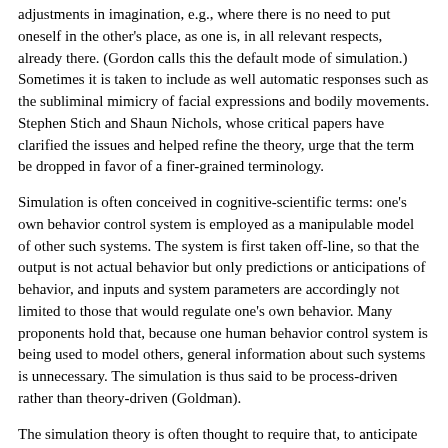adjustments in imagination, e.g., where there is no need to put oneself in the other's place, as one is, in all relevant respects, already there. (Gordon calls this the default mode of simulation.) Sometimes it is taken to include as well automatic responses such as the subliminal mimicry of facial expressions and bodily movements. Stephen Stich and Shaun Nichols, whose critical papers have clarified the issues and helped refine the theory, urge that the term be dropped in favor of a finer-grained terminology.
Simulation is often conceived in cognitive-scientific terms: one's own behavior control system is employed as a manipulable model of other such systems. The system is first taken off-line, so that the output is not actual behavior but only predictions or anticipations of behavior, and inputs and system parameters are accordingly not limited to those that would regulate one's own behavior. Many proponents hold that, because one human behavior control system is being used to model others, general information about such systems is unnecessary. The simulation is thus said to be process-driven rather than theory-driven (Goldman).
The simulation theory is often thought to require that, to anticipate or to explain another's behavior, one has to make decisions in the role of the other--something we are not frequently aware of doing. However, decision-making, insofar as it results in a decision to perform a definite action, would always yield a definite prediction. Something short of decision-making would better account for our